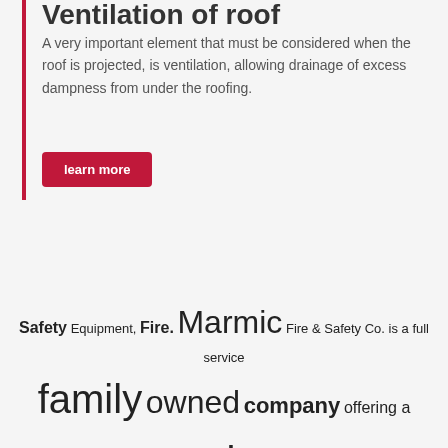Ventilation of roof
A very important element that must be considered when the roof is projected, is ventilation, allowing drainage of excess dampness from under the roofing.
learn more
Safety Equipment, Fire. Marmic Fire & Safety Co. is a full service family owned company offering a complete line of fire and safety supplies used in retail, commercial, flat roof solutions Lander industrial, and. The Rental Store of Joplin Joplin MO Rent Stihl, Echo. The Rental Store has been providing the highest quality equipment roof repair